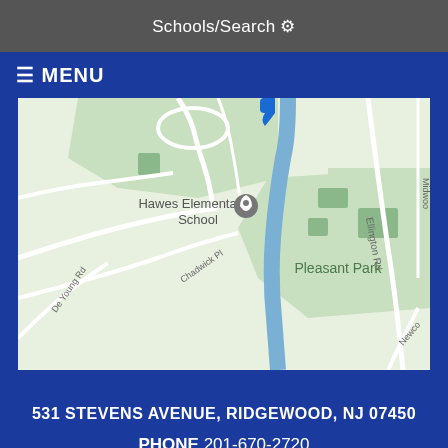Schools/Search ⚙
≡ MENU
[Figure (map): Google Map showing Hawes Elementary School location near Pleasant Park, with roads Ellington Rd, Midwood, Chadwick Pl, De Young Rd, Newco visible. A blue stream runs through the area.]
531 STEVENS AVENUE, RIDGEWOOD, NJ 07450
PHONE 201-670-2720